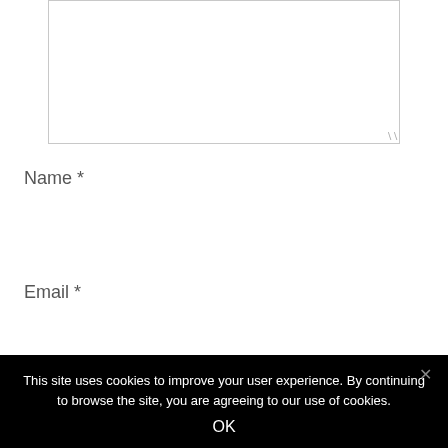[Figure (screenshot): A textarea input box with a resize handle in the bottom-right corner]
Name *
[Figure (screenshot): A single-line text input box for Name]
Email *
[Figure (screenshot): A single-line text input box for Email (partially visible)]
This site uses cookies to improve your user experience. By continuing to browse the site, you are agreeing to our use of cookies.
OK